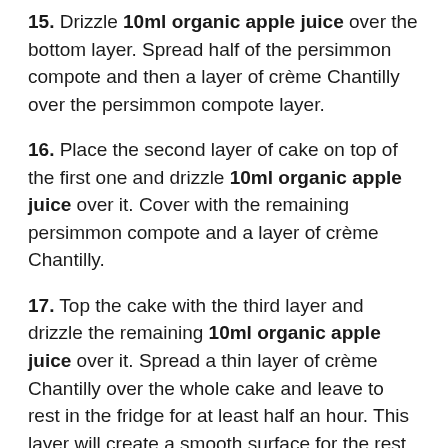15. Drizzle 10ml organic apple juice over the bottom layer. Spread half of the persimmon compote and then a layer of crème Chantilly over the persimmon compote layer.
16. Place the second layer of cake on top of the first one and drizzle 10ml organic apple juice over it. Cover with the remaining persimmon compote and a layer of crème Chantilly.
17. Top the cake with the third layer and drizzle the remaining 10ml organic apple juice over it. Spread a thin layer of crème Chantilly over the whole cake and leave to rest in the fridge for at least half an hour. This layer will create a smooth surface for the rest of the crème Chantilly to be laid upon.
18. Once the first layer of crème Chantilly is set, cover the